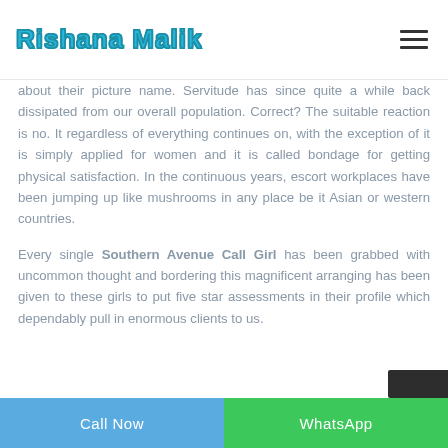Rishana Malik
about their picture name. Servitude has since quite a while back dissipated from our overall population. Correct? The suitable reaction is no. It regardless of everything continues on, with the exception of it is simply applied for women and it is called bondage for getting physical satisfaction. In the continuous years, escort workplaces have been jumping up like mushrooms in any place be it Asian or western countries.

Every single Southern Avenue Call Girl has been grabbed with uncommon thought and bordering this magnificent arranging has been given to these girls to put five star assessments in their profile which dependably pull in enormous clients to us.
Call Now | WhatsApp